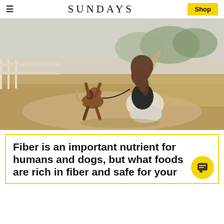≡  SUNDAYS  Shop
[Figure (photo): A smiling woman with long curly hair, wearing a black t-shirt and light pants, kneeling on a dirt path outdoors, holding up a treat while a beagle dog jumps up on its hind legs toward her hand. Background shows a white ranch fence and dry grass field with trees.]
Fiber is an important nutrient for humans and dogs, but what foods are rich in fiber and safe for your